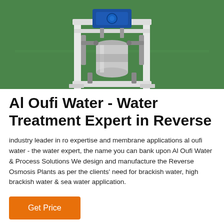[Figure (photo): Photograph of a white-framed reverse osmosis water treatment machine unit with blue pump components and metallic fittings, placed on a green floor.]
Al Oufi Water - Water Treatment Expert in Reverse
industry leader in ro expertise and membrane applications al oufi water - the water expert, the name you can bank upon Al Oufi Water & Process Solutions We design and manufacture the Reverse Osmosis Plants as per the clients' need for brackish water, high brackish water & sea water application.
Get Price